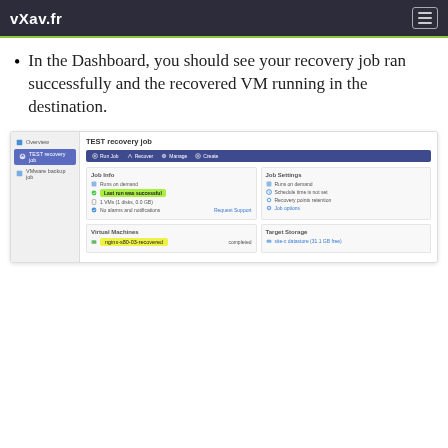vXav.fr
In the Dashboard, you should see your recovery job ran successfully and the recovered VM running in the destination.
[Figure (screenshot): Screenshot of a dashboard showing 'TEST recovery job' with sidebar navigation (Overview, TEST recovery job, VMware backup job), action bar (Run Job, Recover, Manage, Create), Job Info section showing 'Runs on demand', 'Last run was successful' (highlighted green), '1 VMs (1 disks, 0.0 GB)', 'No alarms and notifications', Job Settings section, Virtual Machines section showing 'nginx-s80-03-recovered' (highlighted yellow) with 'completed' status, and Target Storage section showing datastore.]